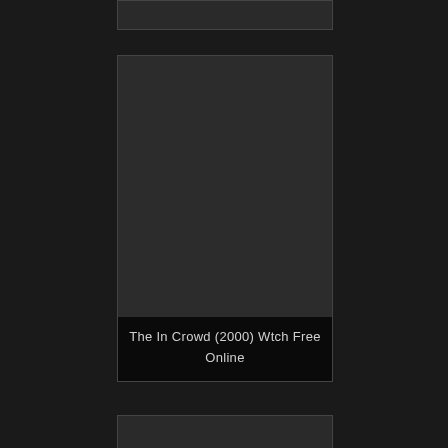[Figure (screenshot): Top partial card/thumbnail with dark background and border, partially cut off at top of page]
[Figure (screenshot): Large dark movie card thumbnail with title bar at bottom reading 'The In Crowd (2000) Wtch Free Online']
The In Crowd (2000) Wtch Free Online
[Figure (screenshot): Bottom partial card/thumbnail with dark background, partially cut off at bottom of page]